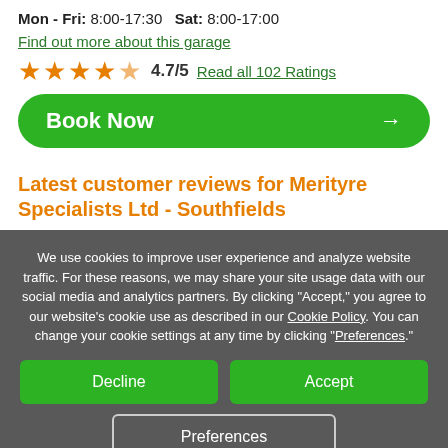Mon - Fri: 8:00-17:30   Sat: 8:00-17:00
Find out more about this garage
★★★★☆ 4.7/5   Read all 102 Ratings
Book Now →
Latest customer reviews for Merityre Specialists Ltd - Southfields
We use cookies to improve user experience and analyze website traffic. For these reasons, we may share your site usage data with our social media and analytics partners. By clicking "Accept," you agree to our website's cookie use as described in our Cookie Policy. You can change your cookie settings at any time by clicking "Preferences."
Decline
Accept
Preferences